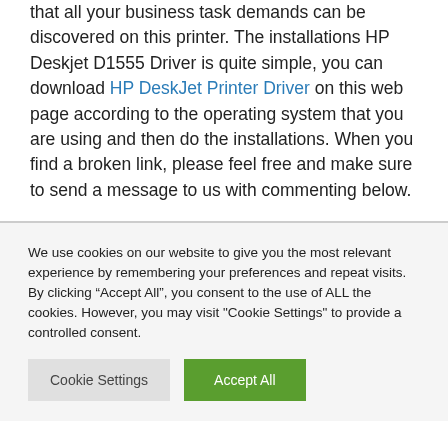that all your business task demands can be discovered on this printer. The installations HP Deskjet D1555 Driver is quite simple, you can download HP DeskJet Printer Driver on this web page according to the operating system that you are using and then do the installations. When you find a broken link, please feel free and make sure to send a message to us with commenting below.
We use cookies on our website to give you the most relevant experience by remembering your preferences and repeat visits. By clicking “Accept All”, you consent to the use of ALL the cookies. However, you may visit "Cookie Settings" to provide a controlled consent.